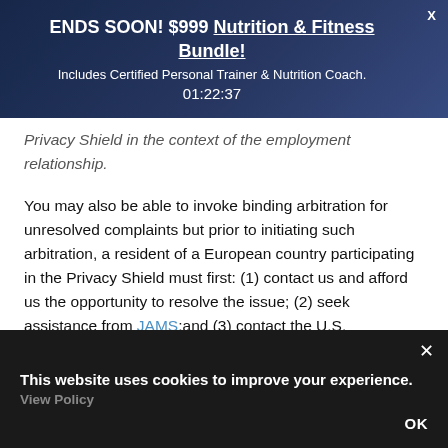[Figure (screenshot): Ad banner with dark navy gradient background showing promotional offer]
ENDS SOON! $999 Nutrition & Fitness Bundle!
Includes Certified Personal Trainer & Nutrition Coach.
01:22:37
Privacy Shield in the context of the employment relationship.
You may also be able to invoke binding arbitration for unresolved complaints but prior to initiating such arbitration, a resident of a European country participating in the Privacy Shield must first: (1) contact us and afford us the opportunity to resolve the issue; (2) seek assistance from JAMS;and (3) contact the U.S. Department of Commerce (either directly or through a European Data Protection Authority) and afford the Department of Commerce time to attempt to resolve the issue. If such a
This website uses cookies to improve your experience.
View Policy
OK